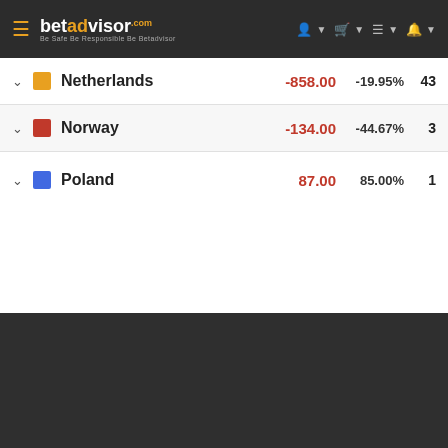betadvisor - Be Safe Be Responsible Be Betadvisor
|  | Country | Value | Percent | Count |
| --- | --- | --- | --- | --- |
| ▼ | Netherlands | -858.00 | -19.95% | 43 |
| ▼ | Norway | -134.00 | -44.67% | 3 |
| ▼ | Poland | ... | ... | 1 |
This website uses cookies
This website uses cookies to improve user experience. By using our website you consent to all cookies in accordance with our Cookie Policy. Read more
STRICTLY NECESSARY
PERFORMANCE
TARGETING
FUNCTIONALITY
UNCLASSIFIED
ACCEPT ALL
DECLINE ALL
SHOW DETAILS
POWERED BY COOKIE-SCRIPT